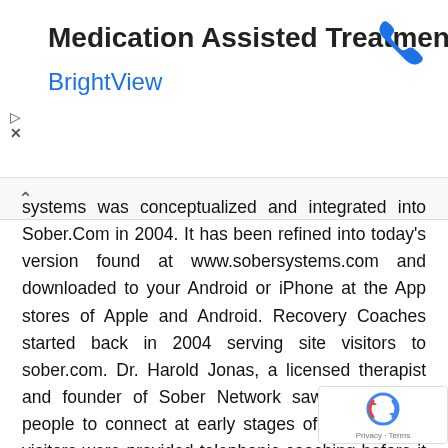[Figure (other): Advertisement banner for BrightView Medication Assisted Treatment with phone icon, play and close controls]
systems was conceptualized and integrated into Sober.Com in 2004. It has been refined into today's version found at www.sobersystems.com and downloaded to your Android or iPhone at the App stores of Apple and Android. Recovery Coaches started back in 2004 serving site visitors to sober.com. Dr. Harold Jonas, a licensed therapist and founder of Sober Network saw a need for people to connect at early stages of change. Site visitors were provided telephonic coaching before it was labeled. The vision of what we have today was being implemented on 28.8 and 56k modems. Dr. Jonas recognized a void and created Live Training based on William White's Recovery Management model. The LIVE training evolved from sketched out modules into a evidence-based manual as the Recovery Coach profession matured. In 2011, Dr. Jonas created the Sobersystems mobile app as a method to connect
[Figure (logo): Google reCAPTCHA badge with Privacy and Terms links]